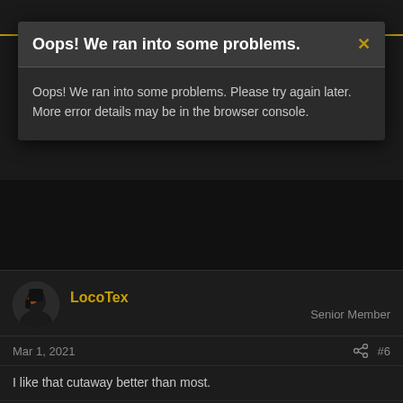Oops! We ran into some problems.
Oops! We ran into some problems. Please try again later. More error details may be in the browser console.
LocoTex
Senior Member
Mar 1, 2021
#6
I like that cutaway better than most.
BKS